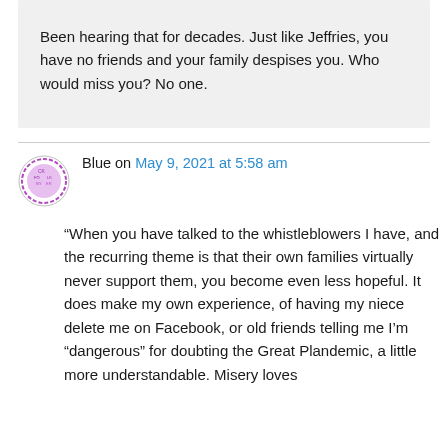Been hearing that for decades. Just like Jeffries, you have no friends and your family despises you. Who would miss you? No one.
Blue on May 9, 2021 at 5:58 am
“When you have talked to the whistleblowers I have, and the recurring theme is that their own families virtually never support them, you become even less hopeful. It does make my own experience, of having my niece delete me on Facebook, or old friends telling me I’m “dangerous” for doubting the Great Plandemic, a little more understandable. Misery loves